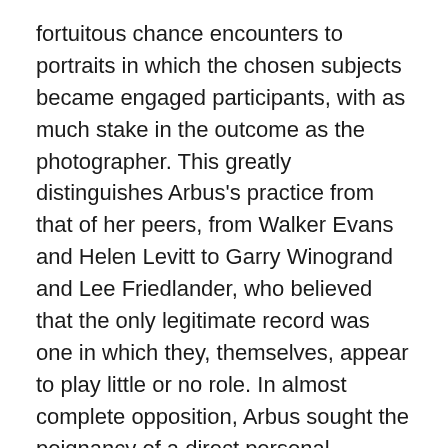fortuitous chance encounters to portraits in which the chosen subjects became engaged participants, with as much stake in the outcome as the photographer. This greatly distinguishes Arbus's practice from that of her peers, from Walker Evans and Helen Levitt to Garry Winogrand and Lee Friedlander, who believed that the only legitimate record was one in which they, themselves, appear to play little or no role. In almost complete opposition, Arbus sought the poignancy of a direct personal encounter.
Arbus made most of her photographs in New York City, where she was born and died, and where she worked in locations such as Times Square, the Lower East Side, Coney Island, and other areas. Her photographs of children and eccentrics, couples and circus performers,